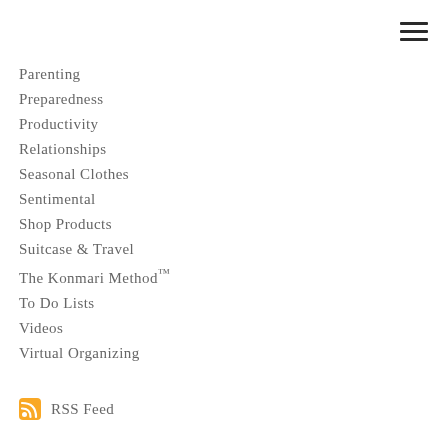Parenting
Preparedness
Productivity
Relationships
Seasonal Clothes
Sentimental
Shop Products
Suitcase & Travel
The Konmari Method™
To Do Lists
Videos
Virtual Organizing
RSS Feed